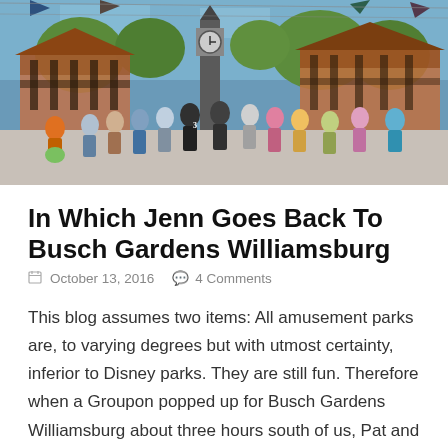[Figure (photo): Outdoor photo of Busch Gardens Williamsburg theme park showing crowds of visitors walking through a European-style village area with Tudor-style buildings, a large decorative clock tower, trees, and blue sky.]
In Which Jenn Goes Back To Busch Gardens Williamsburg
October 13, 2016   4 Comments
This blog assumes two items: All amusement parks are, to varying degrees but with utmost certainty, inferior to Disney parks. They are still fun. Therefore when a Groupon popped up for Busch Gardens Williamsburg about three hours south of us, Pat and I jumped at the